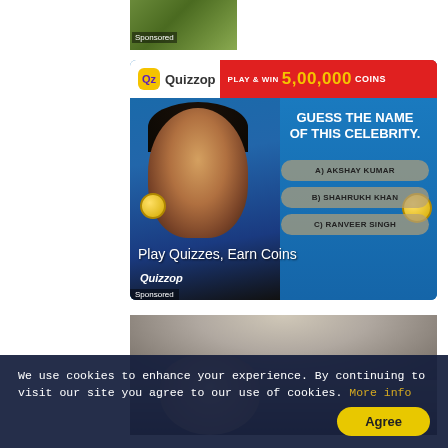[Figure (photo): Small sponsored image thumbnail showing green foliage/leaves]
Sponsored
[Figure (screenshot): Quizzop advertisement banner. Header shows Quizzop logo and 'PLAY & WIN 5,00,000 COINS'. Body shows animated celebrity figure with options A) AKSHAY KUMAR, B) SHAHRUKH KHAN, C) RANVEER SINGH and text 'GUESS THE NAME OF THIS CELEBRITY.' Overlay text reads 'Play Quizzes, Earn Coins' and 'Quizzop'. Sponsored label at bottom left.]
[Figure (photo): Close-up partial photo of a person with light gray/white disheveled hair]
We use cookies to enhance your experience. By continuing to visit our site you agree to our use of cookies. More info
Agree